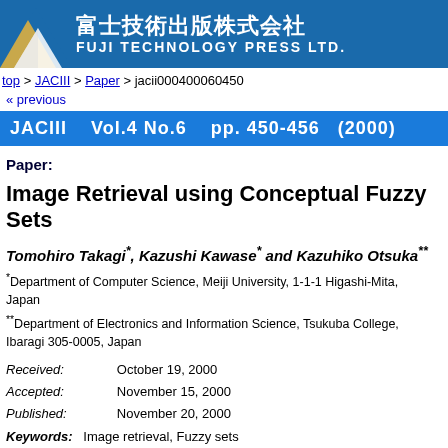[Figure (logo): Fuji Technology Press Ltd. logo with mountain graphic and Japanese/English text on blue background]
top > JACIII > Paper > jacii000400060450
« previous
JACIII   Vol.4 No.6   pp. 450-456  (2000)
Paper:
Image Retrieval using Conceptual Fuzzy Sets
Tomohiro Takagi*, Kazushi Kawase* and Kazuhiko Otsuka**
*Department of Computer Science, Meiji University, 1-1-1 Higashi-Mita, Japan
**Department of Electronics and Information Science, Tsukuba College, Ibaragi 305-0005, Japan
Received: October 19, 2000
Accepted: November 15, 2000
Published: November 20, 2000
Keywords: Image retrieval, Fuzzy sets